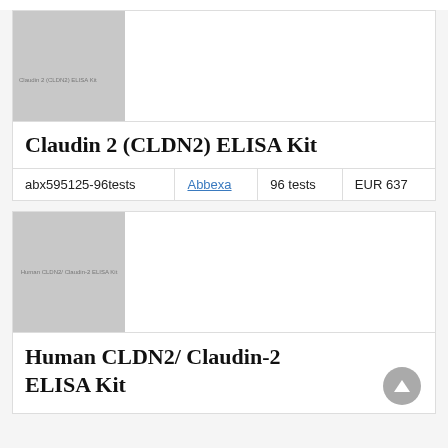[Figure (photo): Product image placeholder for Claudin 2 (CLDN2) ELISA Kit, grey background with label text]
Claudin 2 (CLDN2) ELISA Kit
|  |  |  |  |
| --- | --- | --- | --- |
| abx595125-96tests | Abbexa | 96 tests | EUR 637 |
[Figure (photo): Product image placeholder for Human CLDN2/ Claudin-2 ELISA Kit, grey background with label text]
Human CLDN2/ Claudin-2 ELISA Kit